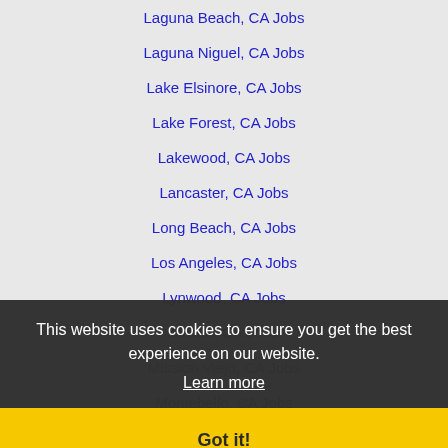Laguna Beach, CA Jobs
Laguna Niguel, CA Jobs
Lake Elsinore, CA Jobs
Lake Forest, CA Jobs
Lakewood, CA Jobs
Lancaster, CA Jobs
Long Beach, CA Jobs
Los Angeles, CA Jobs
Lynwood, CA Jobs
Malibu, CA Jobs
Mission Viejo, CA Jobs
Montebello, CA Jobs
Monterey Park, CA Jobs
Murrieta, CA Jobs
Newport Beach, CA Jobs
Norwalk, CA Jobs
Orange, CA Jobs
Oxnard, CA Jobs
This website uses cookies to ensure you get the best experience on our website. Learn more
Got it!